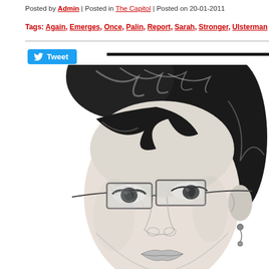Posted by Admin | Posted in The Capitol | Posted on 20-01-2011
Tags: Again, Emerges, Once, Palin, Report, Sarah, Stronger, Ulsterman
[Figure (illustration): Pencil sketch illustration of a woman with short dark hair wearing rimless glasses, looking upward, with a dangling earring visible.]